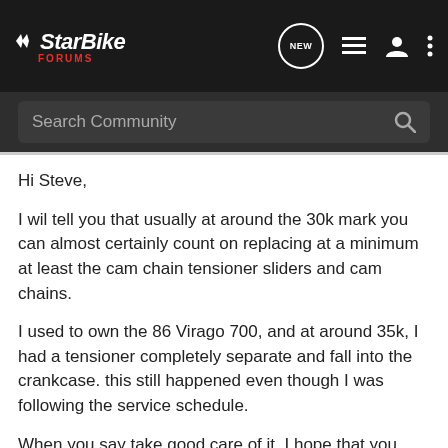StarBike Forums
Search Community
Hi Steve,
I wil tell you that usually at around the 30k mark you can almost certainly count on replacing at a minimum at least the cam chain tensioner sliders and cam chains.
I used to own the 86 Virago 700, and at around 35k, I had a tensioner completely separate and fall into the crankcase. this still happened even though I was following the service schedule.
When you say take good care of it, I hope that you understand that this will mean some parts will need to be changed by then, but as long as you follow the service plan and replace worn parts and cables, brake pads, etc; etc;